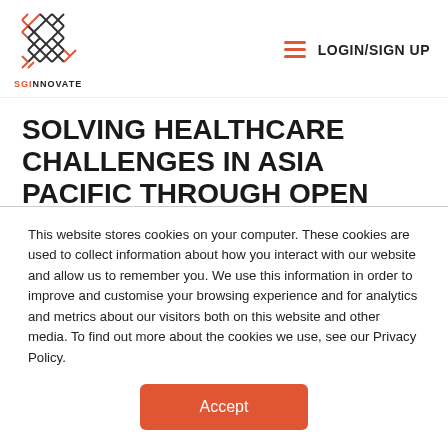SGInnovate | LOGIN/SIGN UP
SOLVING HEALTHCARE CHALLENGES IN ASIA PACIFIC THROUGH OPEN INNOVATION
Topics: AI / Machine Learning / Deep Learning, Deep Tech for Good, MedTech / HealthTech / BioTech, Startup and Corporate Open
This website stores cookies on your computer. These cookies are used to collect information about how you interact with our website and allow us to remember you. We use this information in order to improve and customise your browsing experience and for analytics and metrics about our visitors both on this website and other media. To find out more about the cookies we use, see our Privacy Policy.
Accept